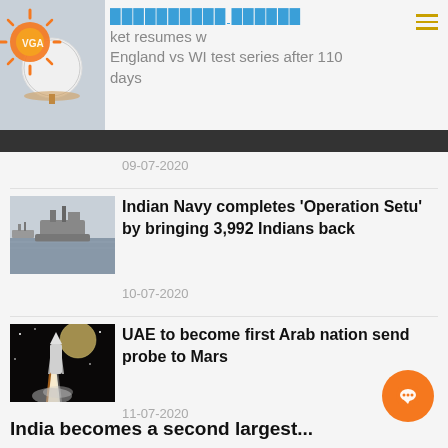VGA [Logo] | ██████████ ██████ ket resumes w England vs WI test series after 110 days
09-07-2020
[Figure (photo): Naval warships at sea]
Indian Navy completes 'Operation Setu' by bringing 3,992 Indians back
10-07-2020
[Figure (photo): Rocket launch at night]
UAE to become first Arab nation send probe to Mars
11-07-2020
India becomes a second largest...